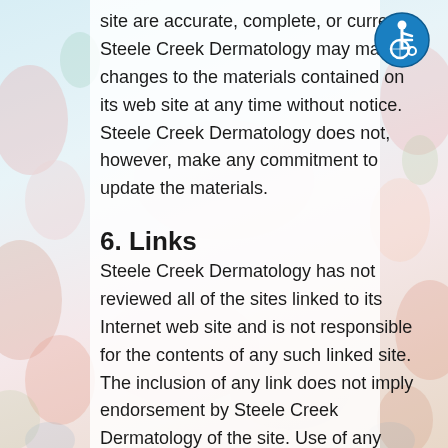site are accurate, complete, or current. Steele Creek Dermatology may make changes to the materials contained on its web site at any time without notice. Steele Creek Dermatology does not, however, make any commitment to update the materials.
6. Links
Steele Creek Dermatology has not reviewed all of the sites linked to its Internet web site and is not responsible for the contents of any such linked site. The inclusion of any link does not imply endorsement by Steele Creek Dermatology of the site. Use of any such linked web site is at the user's own risk.
[Figure (logo): Accessibility icon — blue circle with white wheelchair user symbol]